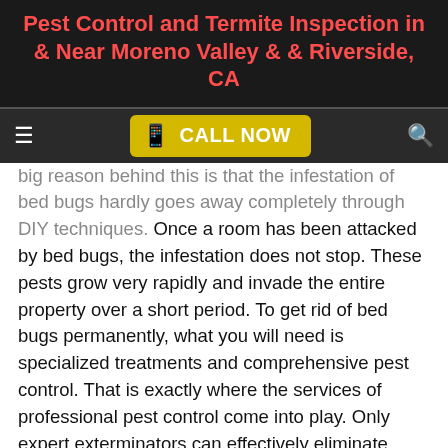Pest Control and Termite Inspection in & Near Moreno Valley & & Riverside, CA
CALL NOW
big reason behind this is that the infestation of bed bugs hardly goes away completely through DIY techniques. Once a room has been attacked by bed bugs, the infestation does not stop. These pests grow very rapidly and invade the entire property over a short period. To get rid of bed bugs permanently, what you will need is specialized treatments and comprehensive pest control. That is exactly where the services of professional pest control come into play. Only expert exterminators can effectively eliminate such infestation.
If your home is under attack by bed bugs, it is not a common situation. Bed bugs attack...